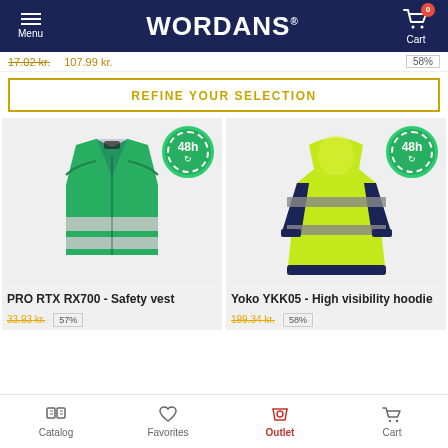WORDANS — Menu, Cart (0)
17.02 kr.   107.99 kr.   58%
REFINE YOUR SELECTION
[Figure (photo): Green safety vest (PRO RTX RX700) with reflective stripes, shown on white background with 48h delivery badge]
PRO RTX RX700 - Safety vest
[Figure (photo): Yellow high visibility hoodie (Yoko YKK05) with reflective stripes and dark sleeves, back view, 48h delivery badge]
Yoko YKK05 - High visibility hoodie
Catalog   Favorites   Outlet   Cart